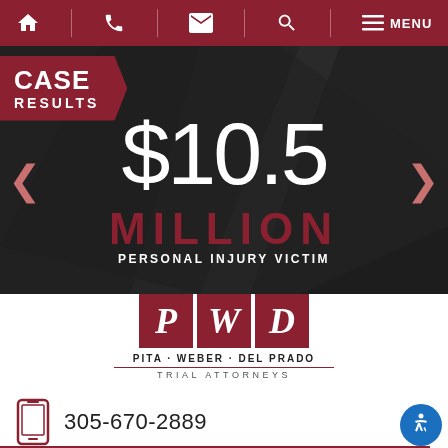Navigation bar with home, phone, email, search, and menu icons
CASE RESULTS
$10.5 MILLION — PERSONAL INJURY VICTIM
[Figure (logo): PWD logo — P, W, D letters in red boxes — Pita Weber Del Prado Trial Attorneys]
305-670-2889